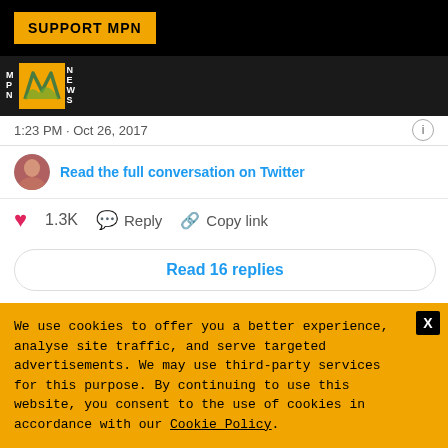SUPPORT MPN
[Figure (logo): MPN News logo with orange background and stylized leaf design]
This is disgusting. #rosamaria twitter.com/ChrisRickerd/s...
1:23 PM · Oct 26, 2017
Read the full conversation on Twitter
1.3K   Reply   Copy link
Read 16 replies
Rep. Don Beyer @RepDonBeyer · Follow
We use cookies to offer you a better experience, analyse site traffic, and serve targeted advertisements. We may use third-party services for this purpose. By continuing to use this website, you consent to the use of cookies in accordance with our Cookie Policy.